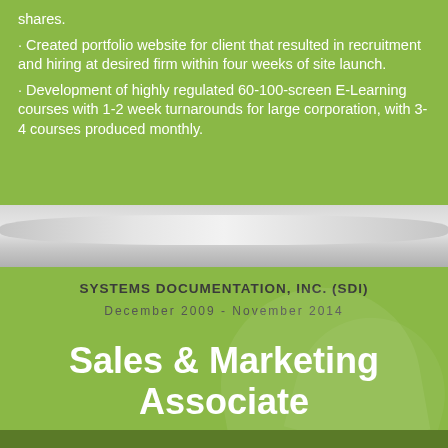· Created portfolio website for client that resulted in recruitment and hiring at desired firm within four weeks of site launch.
· Development of highly regulated 60-100-screen E-Learning courses with 1-2 week turnarounds for large corporation, with 3-4 courses produced monthly.
SYSTEMS DOCUMENTATION, INC. (SDI)
December 2009 - November 2014
Sales & Marketing Associate